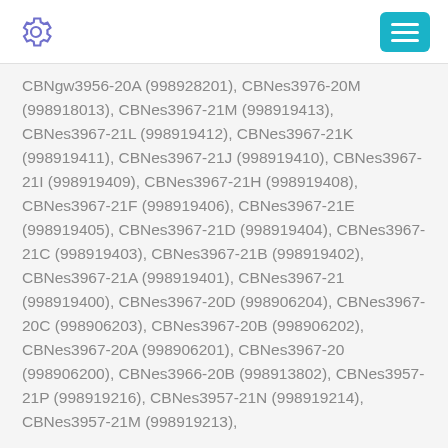CBNgw3956-20A (998928201), CBNes3976-20M (998918013), CBNes3967-21M (998919413), CBNes3967-21L (998919412), CBNes3967-21K (998919411), CBNes3967-21J (998919410), CBNes3967-21I (998919409), CBNes3967-21H (998919408), CBNes3967-21F (998919406), CBNes3967-21E (998919405), CBNes3967-21D (998919404), CBNes3967-21C (998919403), CBNes3967-21B (998919402), CBNes3967-21A (998919401), CBNes3967-21 (998919400), CBNes3967-20D (998906204), CBNes3967-20C (998906203), CBNes3967-20B (998906202), CBNes3967-20A (998906201), CBNes3967-20 (998906200), CBNes3966-20B (998913802), CBNes3957-21P (998919216), CBNes3957-21N (998919214), CBNes3957-21M (998919213),